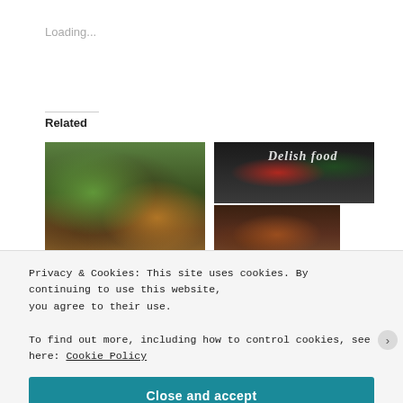Loading...
Related
[Figure (photo): Smoked chicken dish with citrus slices and herbs]
Smoked chicken
July 6, 2020
[Figure (photo): Food blog banner with red pepper and greens on dark wood, plus BBQ chicken poppers image below]
BBQ chicken poppers
Privacy & Cookies: This site uses cookies. By continuing to use this website, you agree to their use.
To find out more, including how to control cookies, see here: Cookie Policy
Close and accept